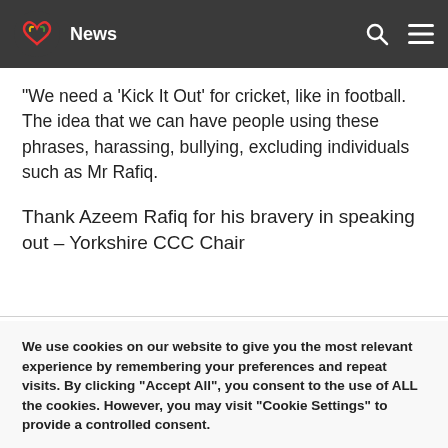News
“We need a ‘Kick It Out’ for cricket, like in football. The idea that we can have people using these phrases, harassing, bullying, excluding individuals such as Mr Rafiq.
Thank Azeem Rafiq for his bravery in speaking out – Yorkshire CCC Chair
We use cookies on our website to give you the most relevant experience by remembering your preferences and repeat visits. By clicking “Accept All”, you consent to the use of ALL the cookies. However, you may visit “Cookie Settings” to provide a controlled consent.